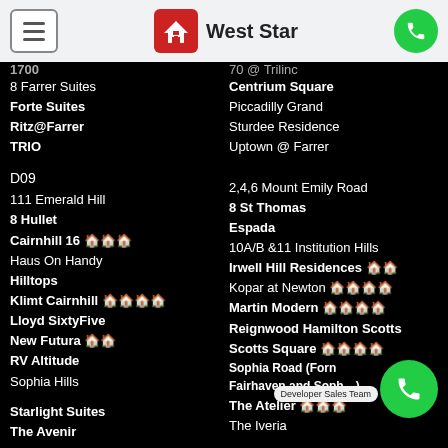West Star
1700 (truncated top left)
8 Farrer Suites
Forte Suites
Ritz@Farrer
TRIO
D09
111 Emerald Hill
8 Hullet
Cairnhill 16 🏠🏠🏠
Haus On Handy
Hilltops
Klimt Cairnhill 🏠🏠🏠🏠
Lloyd SixtyFive
New Futura 🏠🏠
RV Altitude
Sophia Hills
Starlight Suites
The Avenir
70 @ Trilinc (truncated top right)
Centrium Square
Piccadilly Grand
Sturdee Residence
Uptown @ Farrer
2,4,6 Mount Emily Road
8 St Thomas
Espada
10A/B &11 Institution Hills
Irwell Hill Residences 🏠🏠
Kopar at Newton 🏠🏠🏠🏠
Martin Modern 🏠🏠🏠🏠
Reignwood Hamilton Scotts
Scotts Square 🏠🏠🏠🏠
Sophia Road (Formerly Fairhaven and Sophia Vale)
The Atelier 🏠🏠🏠
The Iveria